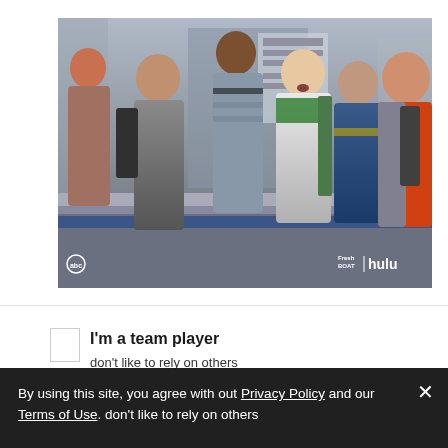[Figure (photo): A group of middle-school-aged boys standing together in what appears to be a school hallway or mall, wearing backpacks and casual clothes. One boy in a green and white shirt appears excited. The image has an ABC logo in the lower left and 'Fresh Boat | hulu' branding in the lower right.]
I'm a team player
don't like to rely on others
By using this site, you agree with out Privacy Policy and our Terms of Use.